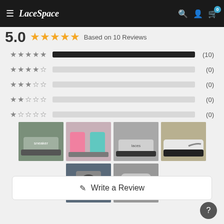LaceSpace navigation bar with hamburger menu, logo, search, account, and cart (0 items)
5.0 ★★★★★ Based on 10 Reviews
| Stars | Bar | Count |
| --- | --- | --- |
| ★★★★★ | filled | (10) |
| ★★★★☆ | empty | (0) |
| ★★★☆☆ | empty | (0) |
| ★★☆☆☆ | empty | (0) |
| ★☆☆☆☆ | empty | (0) |
[Figure (photo): Six product review photos showing Nike sneakers with custom laces and a LaceSpace lace kit packaging]
Write a Review